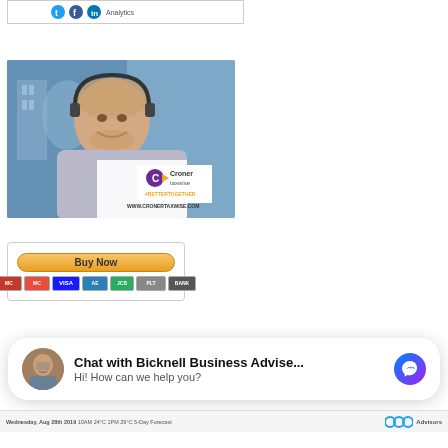[Figure (screenshot): Top partial banner with social media icons (partial, cropped at top)]
[Figure (photo): Croner Taxwise advertisement image showing a smiling man with a headset, holding documents, with Croner Taxwise logo, #BETTERTOGETHER hashtag, and WWW.CRONERTAXWISE.COM URL]
[Figure (screenshot): PayPal Buy Now button with payment method icons including credit cards and bank transfer below]
[Figure (screenshot): Facebook Messenger chat widget with avatar of a person with glasses, text reading 'Chat with Bicknell Business Advise...' and 'Hi! How can we help you?' with messenger icon]
[Figure (screenshot): Footer strip with weather/date info: Wednesday, Aug 28th 2019 10AM 24°C 1PM 29°C 5-Day Forecast, and Owl Advisors logo]